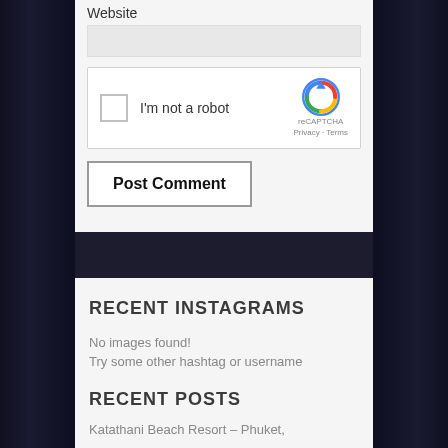Website
[Figure (screenshot): reCAPTCHA widget with checkbox labeled I'm not a robot, reCAPTCHA logo, Privacy and Terms links]
I'm not a robot
reCAPTCHA
Privacy · Terms
Post Comment
RECENT INSTAGRAMS
No images found!
Try some other hashtag or username
RECENT POSTS
Katathani Beach Resort – Phuket,